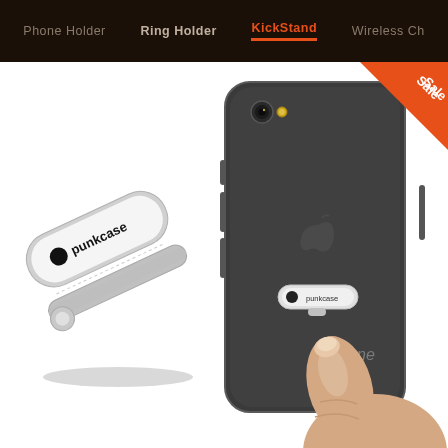Phone Holder  Ring Holder  KickStand  Wireless Ch
[Figure (photo): Product photo showing a PunkCase KickStand phone holder accessory. On the left, a standalone silver metal kickstand with 'punkcase' logo. On the right, an iPhone with the kickstand attached and a hand demonstrating its use. A 'Sale' badge is in the top right corner.]